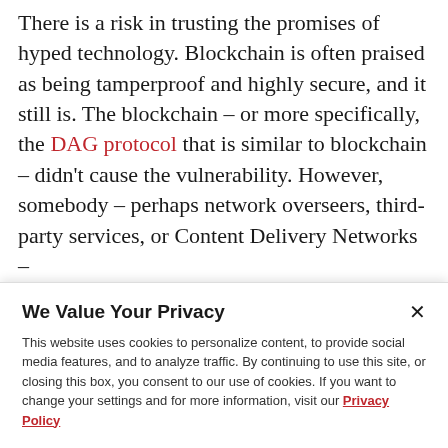There is a risk in trusting the promises of hyped technology. Blockchain is often praised as being tamperproof and highly secure, and it still is. The blockchain – or more specifically, the DAG protocol that is similar to blockchain – didn't cause the vulnerability. However, somebody – perhaps network overseers, third-party services, or Content Delivery Networks –
We Value Your Privacy
This website uses cookies to personalize content, to provide social media features, and to analyze traffic. By continuing to use this site, or closing this box, you consent to our use of cookies. If you want to change your settings and for more information, visit our Privacy Policy